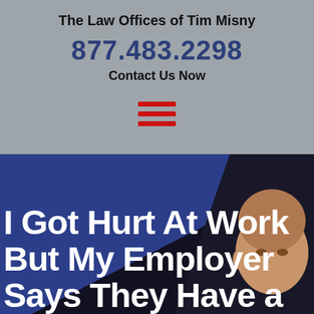The Law Offices of Tim Misny
877.483.2298
Contact Us Now
[Figure (other): Hamburger menu icon with three red horizontal bars]
[Figure (photo): Blue background hero section with photo of Tim Misny and large white headline text reading: I Got Hurt At Work But My Employer Says They Have a]
I Got Hurt At Work But My Employer Says They Have a